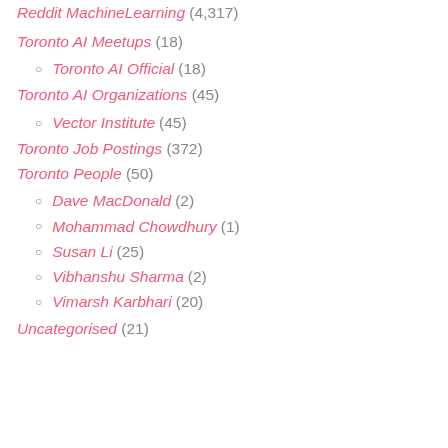Reddit MachineLearning (4,317)
Toronto AI Meetups (18)
Toronto AI Official (18)
Toronto AI Organizations (45)
Vector Institute (45)
Toronto Job Postings (372)
Toronto People (50)
Dave MacDonald (2)
Mohammad Chowdhury (1)
Susan Li (25)
Vibhanshu Sharma (2)
Vimarsh Karbhari (20)
Uncategorised (21)